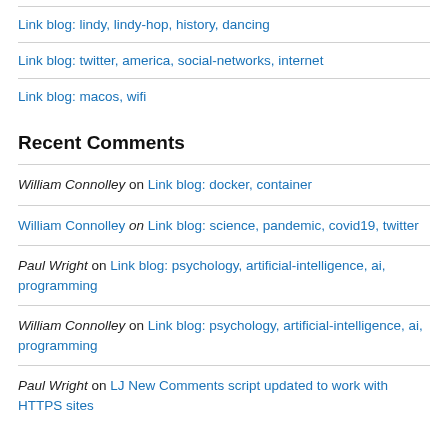Link blog: lindy, lindy-hop, history, dancing
Link blog: twitter, america, social-networks, internet
Link blog: macos, wifi
Recent Comments
William Connolley on Link blog: docker, container
William Connolley on Link blog: science, pandemic, covid19, twitter
Paul Wright on Link blog: psychology, artificial-intelligence, ai, programming
William Connolley on Link blog: psychology, artificial-intelligence, ai, programming
Paul Wright on LJ New Comments script updated to work with HTTPS sites